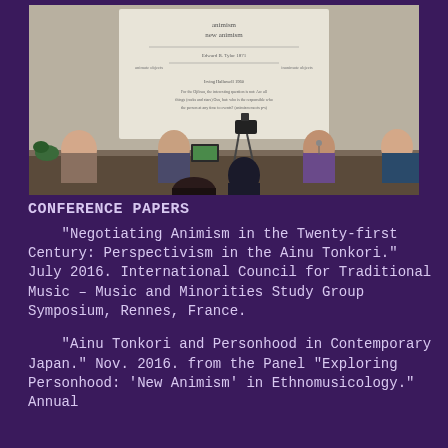[Figure (photo): Conference room photo showing a panel of speakers seated at a long table with a projected presentation screen behind them showing text about 'New Animism'. A camera on a tripod is visible in the foreground along with audience members.]
CONFERENCE PAPERS
"Negotiating Animism in the Twenty-first Century: Perspectivism in the Ainu Tonkori." July 2016. International Council for Traditional Music – Music and Minorities Study Group Symposium, Rennes, France.
"Ainu Tonkori and Personhood in Contemporary Japan." Nov. 2016. from the Panel "Exploring Personhood: 'New Animism' in Ethnomusicology." Annual